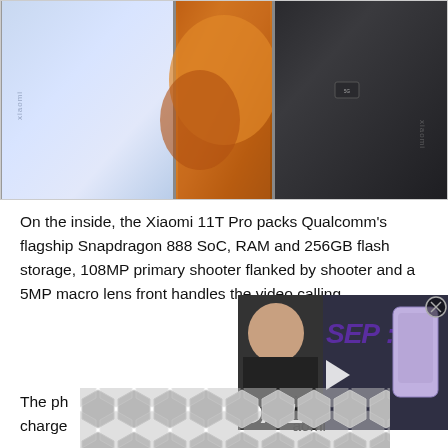[Figure (photo): Three Xiaomi 11T Pro smartphones shown side by side: left in light blue/silver, center showing colorful abstract wallpaper with orange tones, right in matte black showing the back with Xiaomi logo and 5G badge]
On the inside, the Xiaomi 11T Pro packs Qualcomm's flagship Snapdragon 888 SoC, RAM and 256GB flash storage, 108MP primary shooter flanked by shooter and a 5MP macro lens front handles the video calling
[Figure (screenshot): Video thumbnail overlay showing a man (host) on the left, purple 'SEP?' text and a purple iPhone on the right, 'DAILY.' text at the bottom in white italic bold, with a play button in the center]
The ph is charged aomi